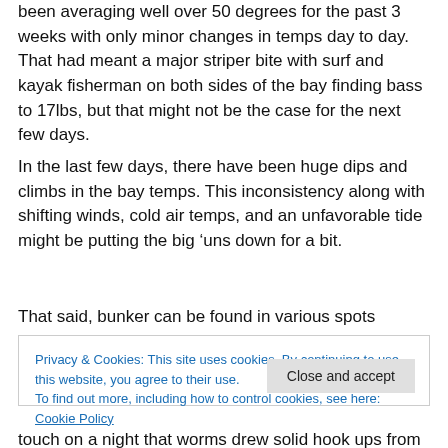been averaging well over 50 degrees for the past 3 weeks with only minor changes in temps day to day. That had meant a major striper bite with surf and kayak fisherman on both sides of the bay finding bass to 17lbs, but that might not be the case for the next few days.
In the last few days, there have been huge dips and climbs in the bay temps. This inconsistency along with shifting winds, cold air temps, and an unfavorable tide might be putting the big ‘uns down for a bit.
That said, bunker can be found in various spots around
Privacy & Cookies: This site uses cookies. By continuing to use this website, you agree to their use.
To find out more, including how to control cookies, see here: Cookie Policy
touch on a night that worms drew solid hook ups from fish